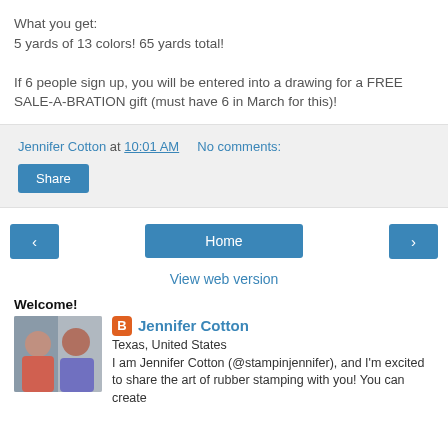What you get:
5 yards of 13 colors! 65 yards total!
If 6 people sign up, you will be entered into a drawing for a FREE SALE-A-BRATION gift (must have 6 in March for this)!
Jennifer Cotton at 10:01 AM   No comments:
Share
Home
View web version
Welcome!
Jennifer Cotton
Texas, United States
I am Jennifer Cotton (@stampinjennifer), and I'm excited to share the art of rubber stamping with you! You can create